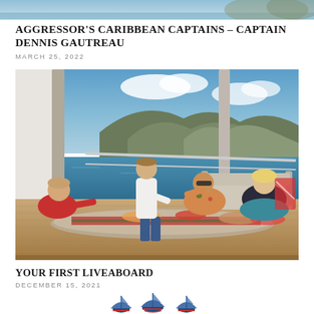[Figure (photo): Partial top strip of an image showing water/sky scene]
AGGRESSOR'S CARIBBEAN CAPTAINS – CAPTAIN DENNIS GAUTREAU
MARCH 25, 2022
[Figure (photo): People socializing on the deck of a liveaboard boat with food spread on a long table, mountains and ocean in the background. A person in a white uniform (captain) serves drinks to guests.]
YOUR FIRST LIVEABOARD
DECEMBER 15, 2021
[Figure (logo): Aggressor Adventures logo — three stylized boat silhouettes in blue and red]